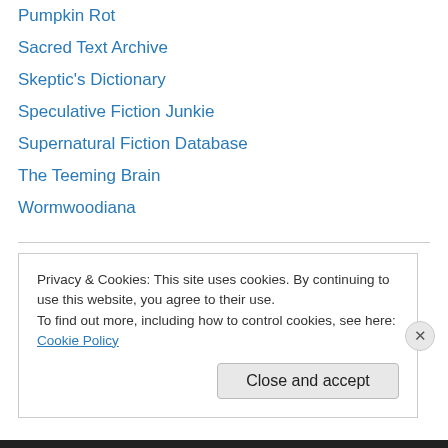Pumpkin Rot
Sacred Text Archive
Skeptic's Dictionary
Speculative Fiction Junkie
Supernatural Fiction Database
The Teeming Brain
Wormwoodiana
Publishers
Centipede Press
Chômu Press
ChiZine Publications
Privacy & Cookies: This site uses cookies. By continuing to use this website, you agree to their use.
To find out more, including how to control cookies, see here: Cookie Policy
Close and accept